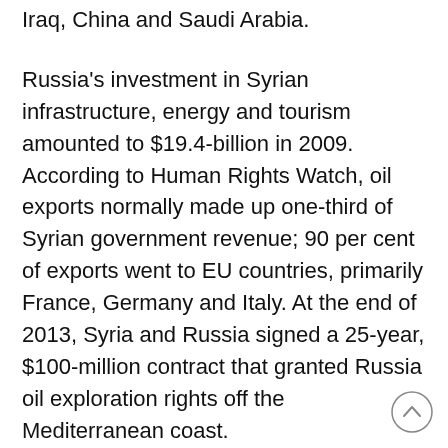Iraq, China and Saudi Arabia.
Russia's investment in Syrian infrastructure, energy and tourism amounted to $19.4-billion in 2009. According to Human Rights Watch, oil exports normally made up one-third of Syrian government revenue; 90 per cent of exports went to EU countries, primarily France, Germany and Italy. At the end of 2013, Syria and Russia signed a 25-year, $100-million contract that granted Russia oil exploration rights off the Mediterranean coast.
Early in 2012 documents leaked from a cyber-attack by hacker group Anonymous revealed that Tehran had given Assad more